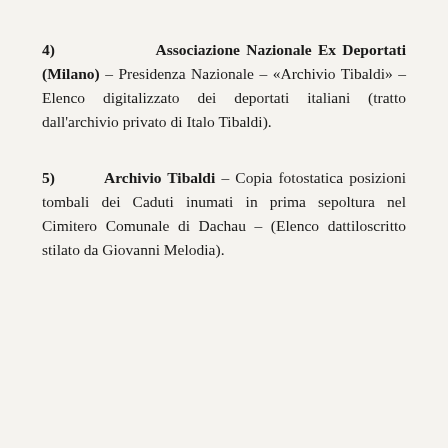4) Associazione Nazionale Ex Deportati (Milano) – Presidenza Nazionale – «Archivio Tibaldi» – Elenco digitalizzato dei deportati italiani (tratto dall'archivio privato di Italo Tibaldi).
5) Archivio Tibaldi – Copia fotostatica posizioni tombali dei Caduti inumati in prima sepoltura nel Cimitero Comunale di Dachau – (Elenco dattiloscritto stilato da Giovanni Melodia).